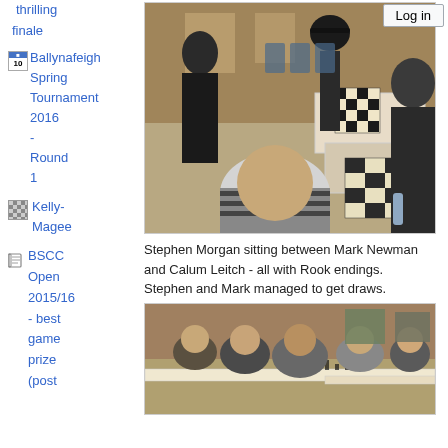thrilling finale
Ballynafeigh Spring Tournament 2016 - Round 1
[Figure (photo): Chess tournament room with multiple people playing chess at tables, viewed from above and side angles]
Kelly-Magee
BSCC Open 2015/16 - best game prize (post
Stephen Morgan sitting between Mark Newman and Calum Leitch - all with Rook endings. Stephen and Mark managed to get draws.
[Figure (photo): Chess players seated at long tables in a hall playing chess games]
Log in